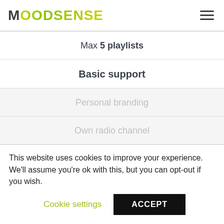MOODSENSE
Max 5 playlists
Basic support
Personal branding
Own radio channel
Own musicdirector
24/7 support
This website uses cookies to improve your experience. We'll assume you're ok with this, but you can opt-out if you wish.
Cookie settings
ACCEPT